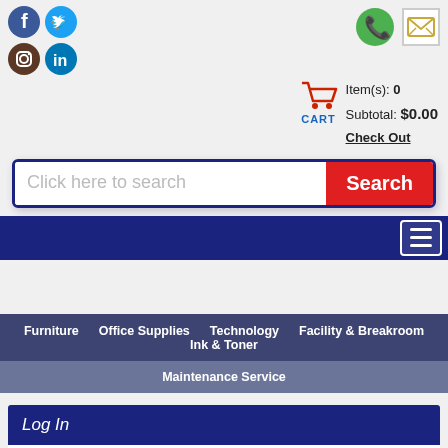[Figure (other): Social media icons: Facebook, Twitter, Instagram, LinkedIn]
[Figure (other): Phone icon (green circle) and email icon (envelope in box)]
Item(s): 0
Subtotal: $0.00
Check Out
Click here to search
Search
Furniture   Office Supplies   Technology   Facility & Breakroom   Ink & Toner
Maintenance Service
Log In